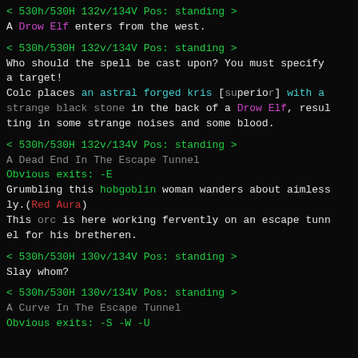< 530h/530H 132v/134V Pos: standing >
A Drow Elf enters from the west.
< 530h/530H 132v/134V Pos: standing >
Who should the spell be cast upon?  You must specify a target!
Colc places an astral forged kris [superior] with a strange black stone in the back of a Drow Elf, resulting in some strange noises and some blood.
< 530h/530H 132v/134V Pos: standing >
A Dead End In The Escape Tunnel
Obvious exits: -E
Grumbling this hobgoblin woman wanders about aimlessly.(Red Aura)
This orc is here working fervently on an escape tunnel for his bretheren.
< 530h/530H 130v/134V Pos: standing >
Slay whom?
< 530h/530H 130v/134V Pos: standing >
A Curve In The Escape Tunnel
Obvious exits: -S -W -U